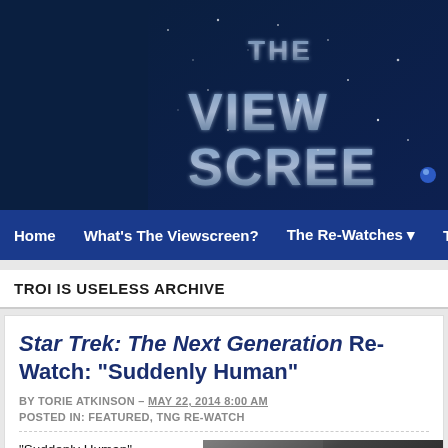[Figure (screenshot): Website header banner with dark navy background and large stylized text logo with starfield/galaxy imagery on the right side]
Home  What's The Viewscreen?  The Re-Watches  Ten F...
TROI IS USELESS ARCHIVE
Star Trek: The Next Generation Re-Watch: "Suddenly Human"
BY TORIE ATKINSON – MAY 22, 2014 8:00 AM
POSTED IN: FEATURED, TNG RE-WATCH
"Suddenly Human"
Teleplay by John Whelpley & Jeri Taylor
Story by Ralph Phillips
Directed by Gabrielle Beaumont

Season 3, Episode 4